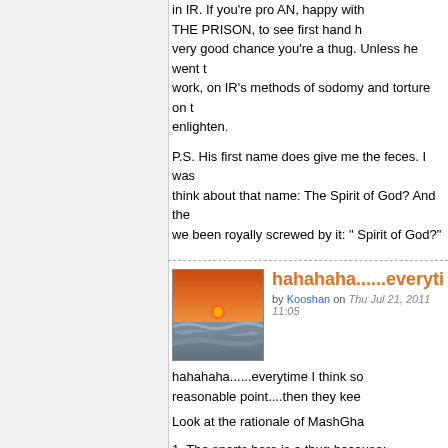in IR. If you're pro AN, happy with THE PRISON, to see first hand h very good chance you're a thug. Unless he went t work, on IR's methods of sodomy and torture on t enlighten.
P.S. His first name does give me the feces. I was think about that name: The Spirit of God? And the we been royally screwed by it: " Spirit of God?"
hahahaha......everyti
by Kooshan on Thu Jul 21, 2011 11:05
[Figure (photo): Sunset over ocean waves, orange sky with sun near horizon]
hahahaha......everytime I think so reasonable point....then they kee
Look at the rationale of MashGha
1. The sports hero is a thug because:
1. He gave his medal to president
2. His name is Roohollah
3. He visited Kahrizak to see how opposition is to
Can you believe how ignorant one can get and cla